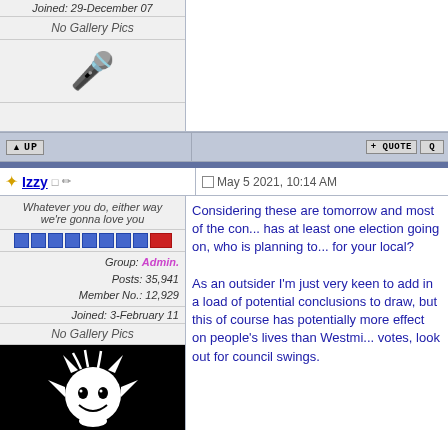Joined: 29-December 07
No Gallery Pics
[Figure (illustration): Microphone emoji icon]
UP button and QUOTE button navigation row
Izzy - May 5 2021, 10:14 AM
Whatever you do, either way we're gonna love you
Group: Admin. Posts: 35,941 Member No.: 12,929
Joined: 3-February 11
No Gallery Pics
[Figure (illustration): Black and white devil/demon avatar logo]
Considering these are tomorrow and most of the co... has at least one election going on, who is planning to... for your local?

As an outsider I'm just very keen to add in a load of potential conclusions to draw, but this of course has potentially more effect on people's lives than Westm... votes, look out for council swings.